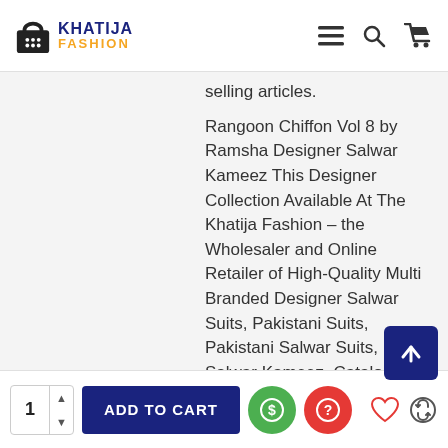KHATIJA FASHION
selling articles.
Rangoon Chiffon Vol 8 by Ramsha Designer Salwar Kameez This Designer Collection Available At The Khatija Fashion – the Wholesaler and Online Retailer of High-Quality Multi Branded Designer Salwar Suits, Pakistani Suits, Pakistani Salwar Suits, Indian Salwar Kameez, Catalogue Designs, Dress Materials, Designer Sarees, Designer Kurtis for all occasions. we have all Pakistani brand Maria.b, Maryam N Maria, Safinaz, Ramsha, Anaya by